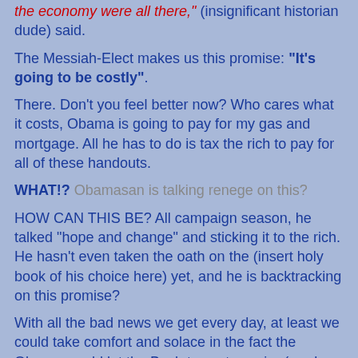the economy were all there," (insignificant historian dude) said.
The Messiah-Elect makes us this promise: "It's going to be costly".
There. Don't you feel better now? Who cares what it costs, Obama is going to pay for my gas and mortgage. All he has to do is tax the rich to pay for all of these handouts.
WHAT!? Obamasan is talking renege on this?
HOW CAN THIS BE? All campaign season, he talked "hope and change" and sticking it to the rich. He hasn't even taken the oath on the (insert holy book of his choice here) yet, and he is backtracking on this promise?
With all the bad news we get every day, at least we could take comfort and solace in the fact the Obama would let the Bush tax cuts expire (read- TAX INCREASE) causing those above us on the economic ladder to slip and fall. Their